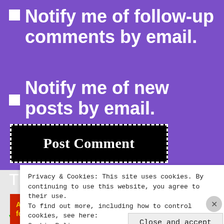■ Notify me of follow-up comments by email.
■ Notify me of new posts by email.
Post Comment
This site uses Akismet to reduce spam. Learn how your comment data is processed.
Privacy & Cookies: This site uses cookies. By continuing to use this website, you agree to their use.
To find out more, including how to control cookies, see here:
Cookie Policy
Close and accept
[Figure (other): Pocket Casts advertisement banner: An app by listeners, for listeners.]